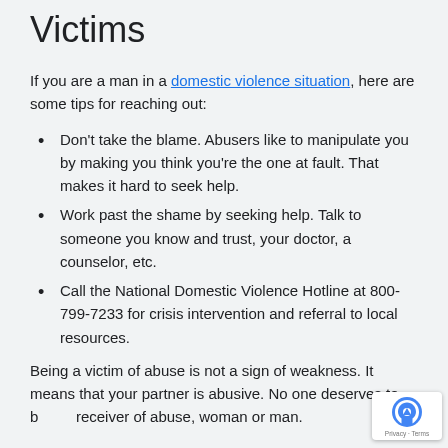Victims
If you are a man in a domestic violence situation, here are some tips for reaching out:
Don't take the blame. Abusers like to manipulate you by making you think you're the one at fault. That makes it hard to seek help.
Work past the shame by seeking help. Talk to someone you know and trust, your doctor, a counselor, etc.
Call the National Domestic Violence Hotline at 800-799-7233 for crisis intervention and referral to local resources.
Being a victim of abuse is not a sign of weakness. It means that your partner is abusive. No one deserves to be the receiver of abuse, woman or man.